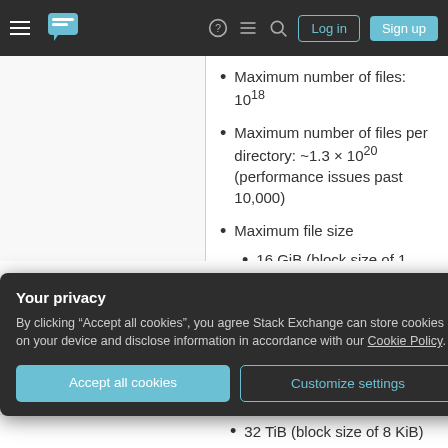Stack Exchange navigation bar with hamburger menu, logo, help, chat, search icons, and Log in / Sign up buttons
Maximum number of files: 10^18
Maximum number of files per directory: ~1.3 × 10^20 (performance issues past 10,000)
Maximum file size
16 GiB (block size of 1 KiB)
256 GiB (block size of 2 KiB)
2 TiB (block size of 4 KiB)
2 TiB (block size of 8 KiB)
Your privacy
By clicking "Accept all cookies", you agree Stack Exchange can store cookies on your device and disclose information in accordance with our Cookie Policy.
32 TiB (block size of 8 KiB)